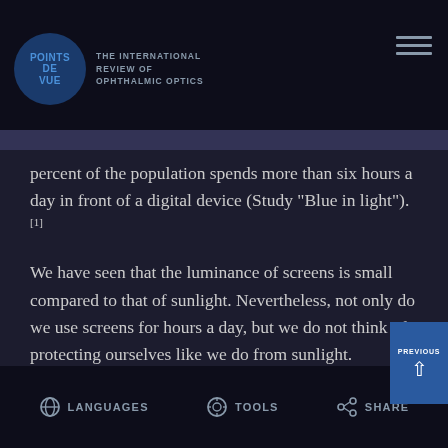POINTS DE VUE — THE INTERNATIONAL REVIEW OF OPHTHALMIC OPTICS
percent of the population spends more than six hours a day in front of a digital device (Study “Blue in light”). [1]
We have seen that the luminance of screens is small compared to that of sunlight. Nevertheless, not only do we use screens for hours a day, but we do not think of protecting ourselves like we do from sunlight. Televisions may be viewed at a safe distance, but that is not the case for computer screens, and even less so for tablets and mobile phones used especially by young people, sometimes for hours and hours a day.
LANGUAGES   TOOLS   SHARE